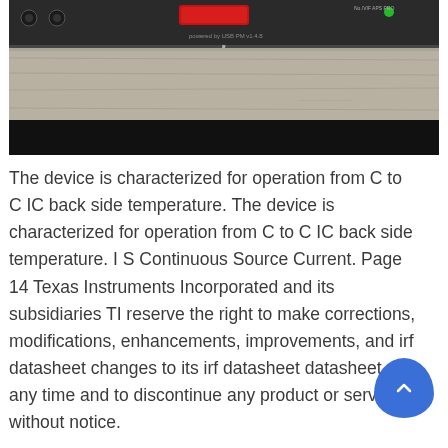[Figure (photo): Photo of electronic audio equipment/rack-mount device with knobs, meters, and cables on a wooden surface. Lower portion is black.]
The device is characterized for operation from C to C IC back side temperature. The device is characterized for operation from C to C IC back side temperature. I S Continuous Source Current. Page 14 Texas Instruments Incorporated and its subsidiaries TI reserve the right to make corrections, modifications, enhancements, improvements, and irf datasheet changes to its irf datasheet datasheet at any time and to discontinue any product or service without notice.